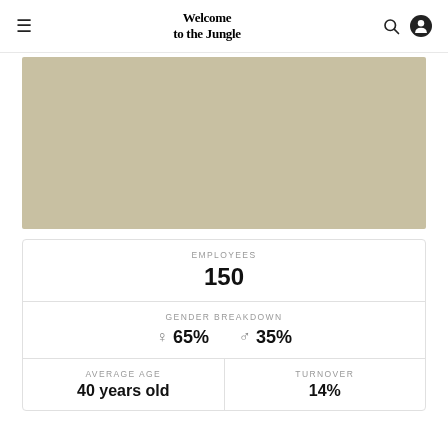Welcome to the Jungle
[Figure (photo): Beige/tan colored hero image banner]
EMPLOYEES
150
GENDER BREAKDOWN
♀ 65%  ♂ 35%
AVERAGE AGE
40 years old
TURNOVER
14%